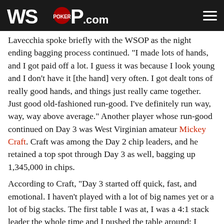WSOP.com
Lavecchia spoke briefly with the WSOP as the night ending bagging process continued. “I made lots of hands, and I got paid off a lot. I guess it was because I look young and I don’t have it [the hand] very often. I got dealt tons of really good hands, and things just really came together. Just good old-fashioned run-good. I’ve definitely run way, way, way above average.” Another player whose run-good continued on Day 3 was West Virginian amateur Mickey Craft. Craft was among the Day 2 chip leaders, and he retained a top spot through Day 3 as well, bagging up 1,345,000 in chips.
According to Craft, “Day 3 started off quick, fast, and emotional. I haven’t played with a lot of big names yet or a lot of big stacks. The first table I was at, I was a 4:1 stack leader the whole time and I pushed the table around; I shoved a lot. I got called a couple of times, and had it, and that helped out tremendously.
“Then I come over to this table,” he said, referring to a seat in Brasilia, where he was moved in the middle of the day’s play.